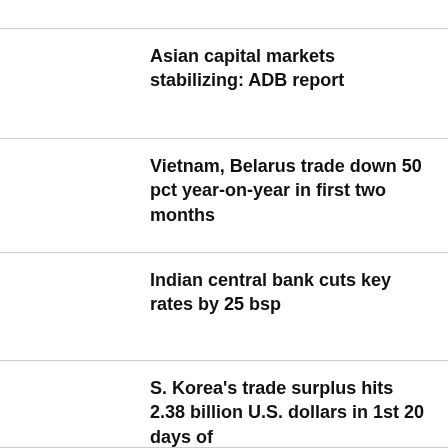Asian capital markets stabilizing: ADB report
Vietnam, Belarus trade down 50 pct year-on-year in first two months
Indian central bank cuts key rates by 25 bsp
S. Korea's trade surplus hits 2.38 billion U.S. dollars in 1st 20 days of